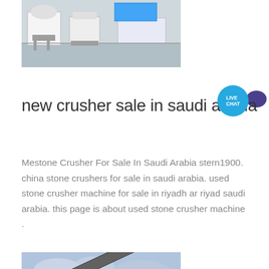[Figure (photo): Industrial machinery / crusher equipment on concrete floor, partial view at top of page]
new crusher sale in saudi arabia
Mestone Crusher For Sale In Saudi Arabia stern1900. china stone crushers for sale in saudi arabia. used stone crusher machine for sale in riyadh ar riyad saudi arabia. this page is about used stone crusher machine .
[Figure (photo): Mobile stone crusher plant with conveyor belts at a quarry site with mountains in the background]